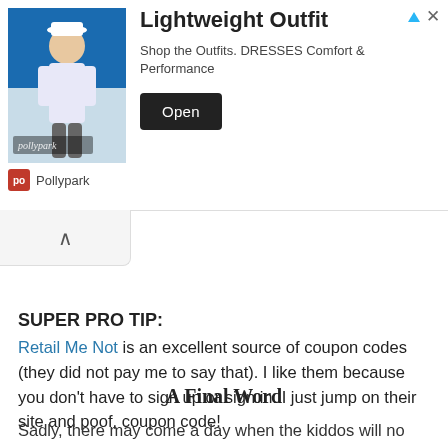[Figure (screenshot): Advertisement banner for Pollypark Lightweight Outfit. Shows a woman in athletic wear, with heading 'Lightweight Outfit', subtext 'Shop the Outfits. DRESSES Comfort & Performance', an 'Open' button, and Pollypark branding at bottom left. Corner has ad indicator triangle and X icon.]
[Figure (screenshot): Collapse/accordion chevron up button area with gray background]
SUPER PRO TIP:
Retail Me Not is an excellent source of coupon codes (they did not pay me to say that).  I like them because you don't have to sign up or sign in.  I just jump on their site and poof, coupon code!
A Final Word
Sadly, there may come a day when the kiddos will no longer be willing to wear matching pjs at holiday (or any other)